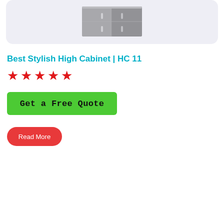[Figure (photo): Product image of a high cabinet (HC 11) shown against a light lavender/grey background. The cabinet appears metallic/grey in color, partially cropped at the top.]
Best Stylish High Cabinet | HC 11
★★★★★
Get a Free Quote
Read More